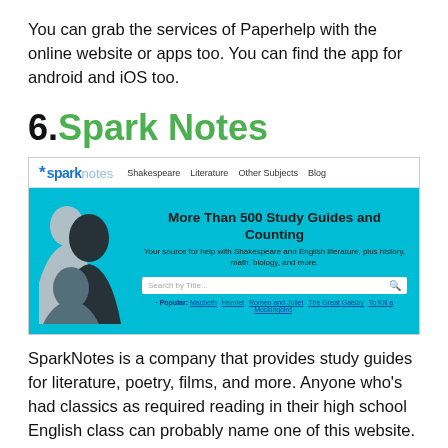You can grab the services of Paperhelp with the online website or apps too. You can find the app for android and iOS too.
6. Spark Notes
[Figure (screenshot): Screenshot of the SparkNotes website showing the navigation bar with logo, Shakespeare, Literature, Other Subjects, Blog links, and a hero banner with portraits of literary figures on a cyan/blue background, headline 'More Than 500 Study Guides and Counting', subtitle text, search bar with 'Search by Title...' placeholder, and popular links: Macbeth, Hamlet, Romeo and Juliet, The Great Gatsby, To Kill a Mockingbird.]
SparkNotes is a company that provides study guides for literature, poetry, films, and more. Anyone who's had classics as required reading in their high school English class can probably name one of this website. But